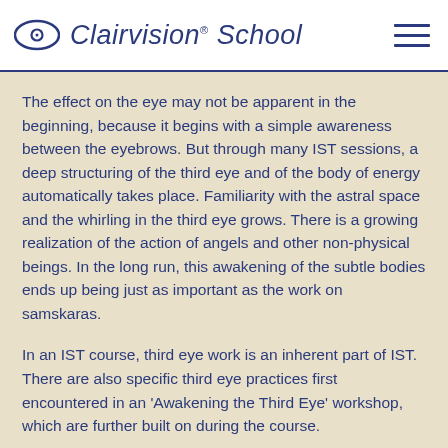Clairvision School
The effect on the eye may not be apparent in the beginning, because it begins with a simple awareness between the eyebrows. But through many IST sessions, a deep structuring of the third eye and of the body of energy automatically takes place. Familiarity with the astral space and the whirling in the third eye grows. There is a growing realization of the action of angels and other non-physical beings. In the long run, this awakening of the subtle bodies ends up being just as important as the work on samskaras.
In an IST course, third eye work is an inherent part of IST. There are also specific third eye practices first encountered in an 'Awakening the Third Eye' workshop, which are further built on during the course.